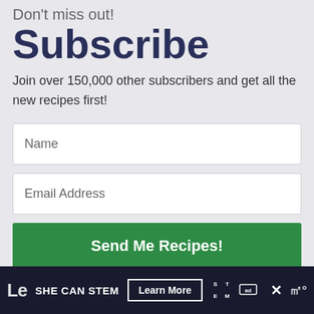Don't miss out!
Subscribe
Join over 150,000 other subscribers and get all the new recipes first!
Name
Email Address
Send Me Recipes!
SHE CAN STEM  Learn More